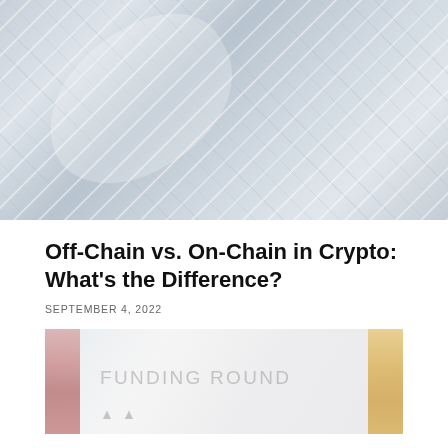[Figure (photo): Abstract technology/circuit board image with diagonal lines and white highlights on a blue-grey background]
Off-Chain vs. On-Chain in Crypto: What’s the Difference?
SEPTEMBER 4, 2022
[Figure (photo): Image showing text 'FUNDING ROUND' with colorful side bars on a light background]